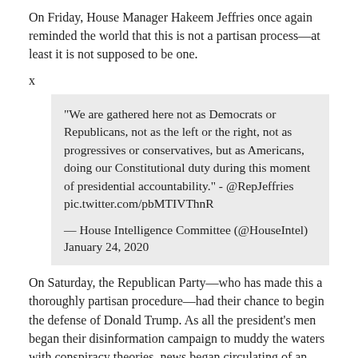On Friday, House Manager Hakeem Jeffries once again reminded the world that this is not a partisan process—at least it is not supposed to be one.
x
"We are gathered here not as Democrats or Republicans, not as the left or the right, not as progressives or conservatives, but as Americans, doing our Constitutional duty during this moment of presidential accountability." - @RepJeffries pic.twitter.com/pbMTIVThnR

— House Intelligence Committee (@HouseIntel) January 24, 2020
On Saturday, the Republican Party—who has made this a thoroughly partisan procedure—had their chance to begin the defense of Donald Trump. As all the president's men began their disinformation campaign to muddy the waters with conspiracy theories, news began circulating of an almost 90-minute long audio tape purportedly secretly recorded by Igor Fruman and Lev Parnas. Highlights included Trump angrily saying he wanted people to "get rid of" then-Ambassador to Ukraine